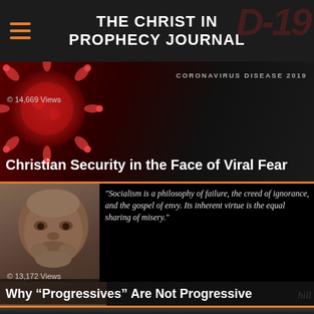THE CHRIST IN PROPHECY JOURNAL
[Figure (screenshot): Article card with coronavirus microscope image; label 'CORONAVIRUS DISEASE 2019'; view count 14,669 Views; title 'Christian Security in the Face of Viral Fear']
[Figure (screenshot): Article card with photo of Winston Churchill and quote: "Socialism is a philosophy of failure, the creed of ignorance, and the gospel of envy. Its inherent virtue is the equal sharing of misery."; view count 13,172 Views; title 'Why "Progressives" Are Not Progressive']
[Figure (screenshot): Partial bottom article card showing two men and a red helicopter in smoke]